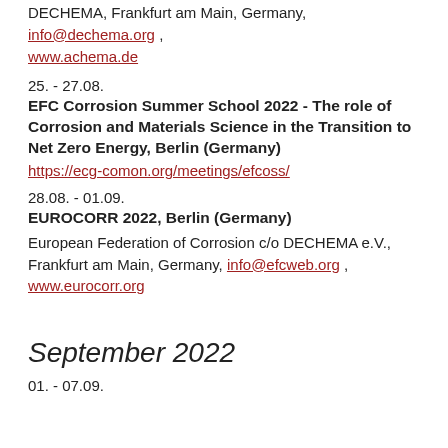DECHEMA, Frankfurt am Main, Germany, info@dechema.org , www.achema.de
25. - 27.08.
EFC Corrosion Summer School 2022 - The role of Corrosion and Materials Science in the Transition to Net Zero Energy, Berlin (Germany)
https://ecg-comon.org/meetings/efcoss/
28.08. - 01.09.
EUROCORR 2022, Berlin (Germany)
European Federation of Corrosion c/o DECHEMA e.V., Frankfurt am Main, Germany, info@efcweb.org , www.eurocorr.org
September 2022
01. - 07.09.